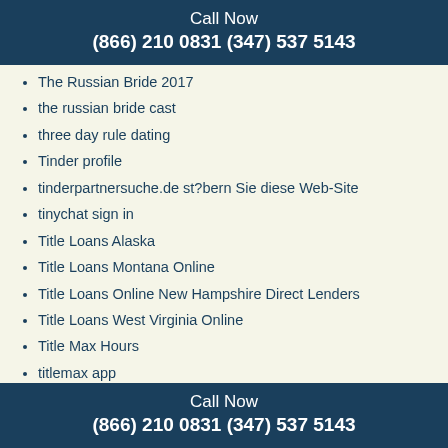Call Now
(866) 210 0831 (347) 537 5143
The Russian Bride 2017
the russian bride cast
three day rule dating
Tinder profile
tinderpartnersuche.de st?bern Sie diese Web-Site
tinychat sign in
Title Loans Alaska
Title Loans Montana Online
Title Loans Online New Hampshire Direct Lenders
Title Loans West Virginia Online
Title Max Hours
titlemax app
titlemax credit
titlemax payments
Titlemax Title Loans
together2night hookup apps
Top 10 Best Dating Sites In Us...
Call Now
(866) 210 0831 (347) 537 5143